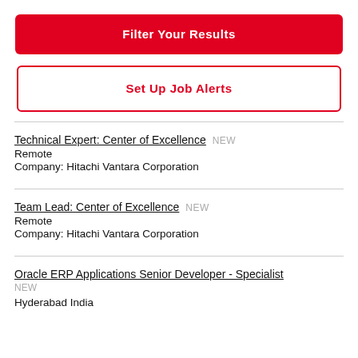Filter Your Results
Set Up Job Alerts
Technical Expert: Center of Excellence NEW
Remote
Company: Hitachi Vantara Corporation
Team Lead: Center of Excellence NEW
Remote
Company: Hitachi Vantara Corporation
Oracle ERP Applications Senior Developer - Specialist
NEW
Hyderabad India